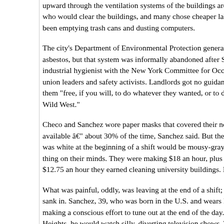upward through the ventilation systems of the buildings around the who would clear the buildings, and many chose cheaper labor: me been emptying trash cans and dusting computers.
The city's Department of Environmental Protection generally overs asbestos, but that system was informally abandoned after Sept. 11 industrial hygienist with the New York Committee for Occupational union leaders and safety activists. Landlords got no guidance from them "free, if you will, to do whatever they wanted, or to do nothing Wild West."
Checo and Sanchez wore paper masks that covered their noses a available â€" about 30% of the time, Sanchez said. But the dust pe was white at the beginning of a shift would be mousy-gray by its e thing on their minds. They were making $18 an hour, plus time and $12.75 an hour they earned cleaning university buildings. It was go
What was painful, oddly, was leaving at the end of a shift; that's wh sank in. Sanchez, 39, who was born in the U.S. and wears hip, Wo making a conscious effort to tune out at the end of the day. Back in Heights, he would watch silly, diverting television shows. Then he w idea whether the air was safe to breathe because he didn't ask.
"If we all used common sense, we would say, 'This is not a healthy the whole 9/11 situation itself kept you from thinking."
Sanchez figured he deserved to be exhausted at the end of the job depthless, unfathomable. In May, when he tried to return to his ord York University â€" he got dizzy and his chest closed up. He lasted He, his mother and his son had moved in with an aunt to save mor pressuring him, angrily, to go back to work. At one point, the fights